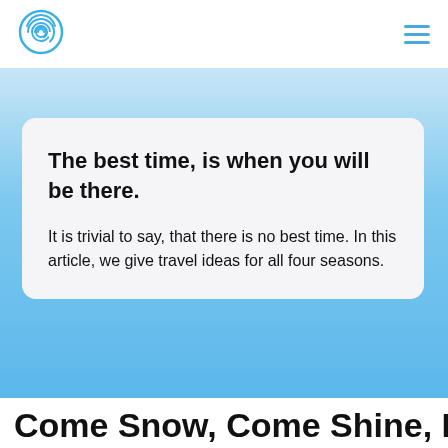[Figure (logo): Blue fingerprint/swirl circle logo icon in the top-left navigation bar]
The best time, is when you will be there.
It is trivial to say, that there is no best time. In this article, we give travel ideas for all four seasons.
Come Snow, Come Shine, It's